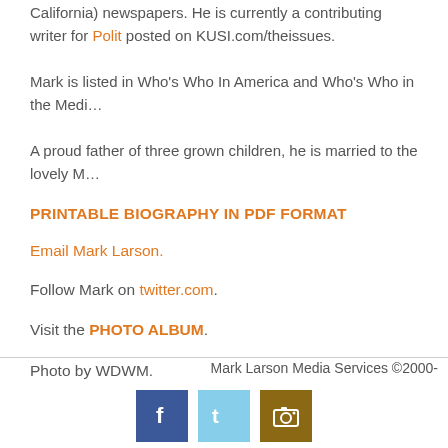California) newspapers. He is currently a contributing writer for Polit… posted on KUSI.com/theissues.
Mark is listed in Who's Who In America and Who's Who in the Media…
A proud father of three grown children, he is married to the lovely M…
PRINTABLE BIOGRAPHY IN PDF FORMAT
Email Mark Larson.
Follow Mark on twitter.com.
Visit the PHOTO ALBUM.
Photo by WDWM.
Mark Larson Media Services ©2000-
[Figure (other): Social media icons: Facebook, Twitter, Camera/Photo]